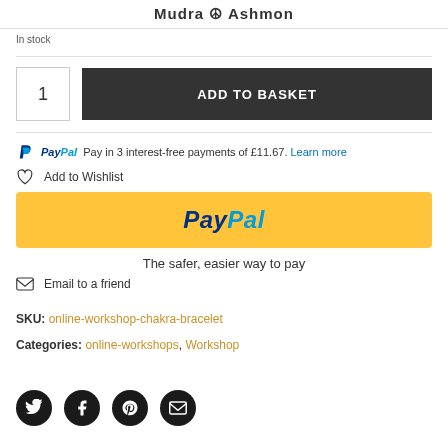Mudra Ashmon
In stock
1   ADD TO BASKET
PayPal Pay in 3 interest-free payments of £11.67. Learn more
Add to Wishlist
[Figure (screenshot): PayPal yellow payment button]
The safer, easier way to pay
Email to a friend
SKU: online-workshop-chakra-bracelet
Categories: online-workshops, Workshop
[Figure (infographic): Social share icons: Twitter, Facebook, Pinterest, Email]